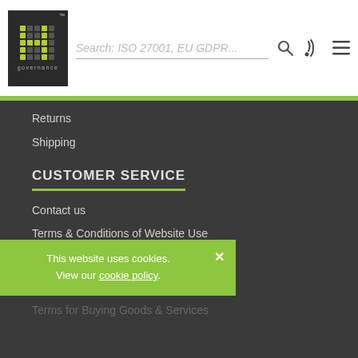[Figure (logo): IT Governance logo - dark box with green dot-matrix letters and 'governance' text below, with search bar and navigation icons]
Returns
Shipping
CUSTOMER SERVICE
Contact us
Terms & Conditions of Website Use
Acceptable Use Policy
Payment Options
This website uses cookies. View our cookie policy.
Terms for Buying Goods & Services